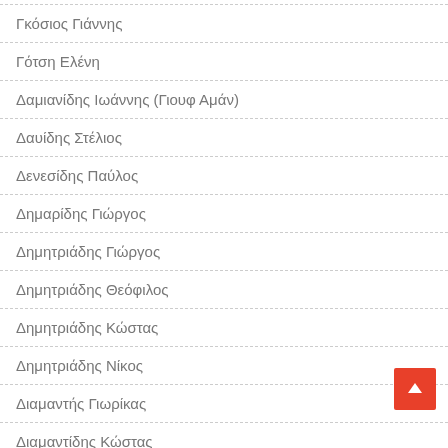Γκόσιος Γιάννης
Γότση Ελένη
Δαμιανίδης Ιωάννης (Γιουφ Αμάν)
Δαυίδης Στέλιος
Δενεσίδης Παύλος
Δημαρίδης Γιώργος
Δημητριάδης Γιώργος
Δημητριάδης Θεόφιλος
Δημητριάδης Κώστας
Δημητριάδης Νίκος
Διαμαντής Γιωρίκας
Διαμαντίδης Κώστας